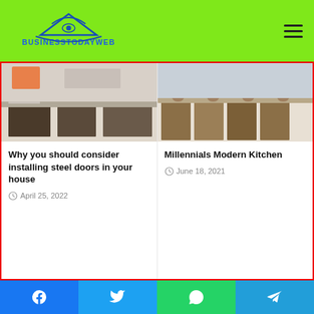BUSINESSTODAYWEB
[Figure (photo): Kitchen interior with appliances and cabinets visible]
Why you should consider installing steel doors in your house
April 25, 2022
[Figure (photo): Modern kitchen with chairs and counter visible]
Millennials Modern Kitchen
June 18, 2021
Categories
Agriculture Businesses
All
Baby Product
Blog
Facebook | Twitter | WhatsApp | Telegram